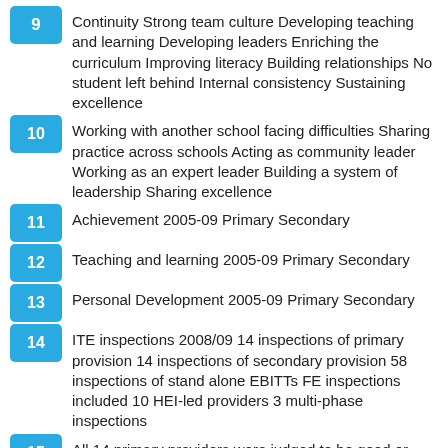9  Continuity Strong team culture Developing teaching and learning Developing leaders Enriching the curriculum Improving literacy Building relationships No student left behind Internal consistency Sustaining excellence
10  Working with another school facing difficulties Sharing practice across schools Acting as community leader Working as an expert leader Building a system of leadership Sharing excellence
11  Achievement 2005-09 Primary Secondary
12  Teaching and learning 2005-09 Primary Secondary
13  Personal Development 2005-09 Primary Secondary
14  ITE inspections 2008/09 14 inspections of primary provision 14 inspections of secondary provision 58 inspections of stand alone EBITTs FE inspections included 10 HEI-led providers 3 multi-phase inspections
15  All 14 primary providers were judged to be good or better for overall effectiveness and capacity to improve 12 out of 14 secondary providers were graded good or better for overall effectiveness and capacity to improve FE provision was judged good or better in 9 out of 10 FE